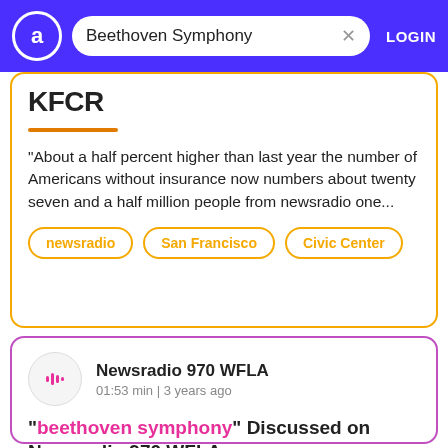Beethoven Symphony — LOGIN
KFCR
"About a half percent higher than last year the number of Americans without insurance now numbers about twenty seven and a half million people from newsradio one..."
newsradio
San Francisco
Civic Center
Newsradio 970 WFLA — 01:53 min | 3 years ago
"beethoven symphony" Discussed on Newsradio 970 WFLA